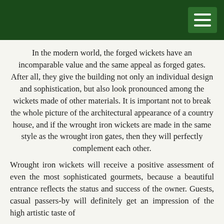In the modern world, the forged wickets have an incomparable value and the same appeal as forged gates. After all, they give the building not only an individual design and sophistication, but also look pronounced among the wickets made of other materials. It is important not to break the whole picture of the architectural appearance of a country house, and if the wrought iron wickets are made in the same style as the wrought iron gates, then they will perfectly complement each other.
Wrought iron wickets will receive a positive assessment of even the most sophisticated gourmets, because a beautiful entrance reflects the status and success of the owner. Guests, casual passers-by will definitely get an impression of the high artistic taste of